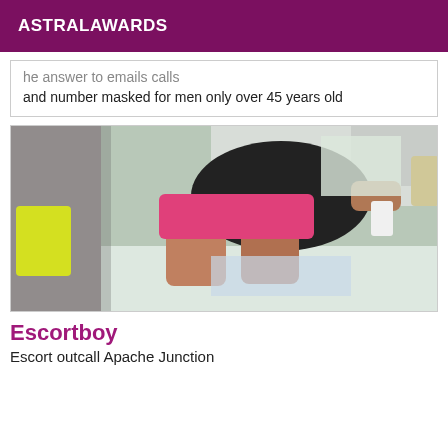ASTRALAWARDS
he answer to emails and number masked for men only over 45 years old
[Figure (photo): Photo of a person wearing a black top and pink shorts, taking a selfie, viewed from above on a bed]
Escortboy
Escort outcall Apache Junction